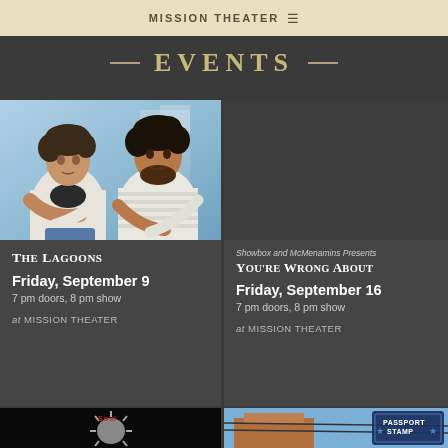MISSION THEATER ≡
EVENTS
[Figure (photo): Two young men sitting outdoors, one with curly hair in white shirt, one with dark curly hair in striped shirt]
The Lagoons
Friday, September 9
7 pm doors, 8 pm show
at MISSION THEATER
[Figure (photo): Dark grey placeholder image for You're Wrong About event]
Showbox and McMenamins Presents
You're Wrong About
Friday, September 16
7 pm doors, 8 pm show
at MISSION THEATER
[Figure (illustration): Partial bottom left card showing Soul lion logo on black background]
[Figure (photo): Partial bottom right card showing building with Passport Stamp overlay]